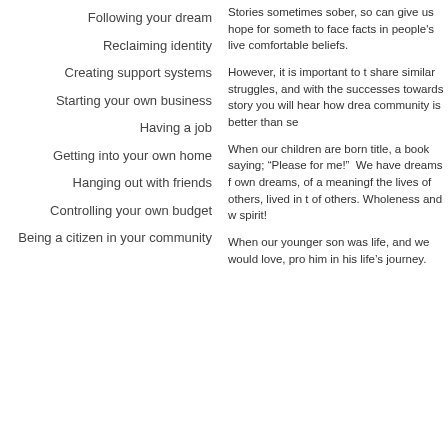Following your dream
Reclaiming identity
Creating support systems
Starting your own business
Having a job
Getting into your own home
Hanging out with friends
Controlling your own budget
Being a citizen in your community
Stories sometimes sober, so can give us hope for someth to face facts in people's live comfortable beliefs.
However, it is important to t share similar struggles, and with the successes towards story you will hear how drea community is better than se
When our children are born title, a book saying; “Please for me!”  We have dreams f own dreams, of a meaningf the lives of others, lived in t of others. Wholeness and w spirit!
When our younger son was life, and we would love, pro him in his life’s journey.